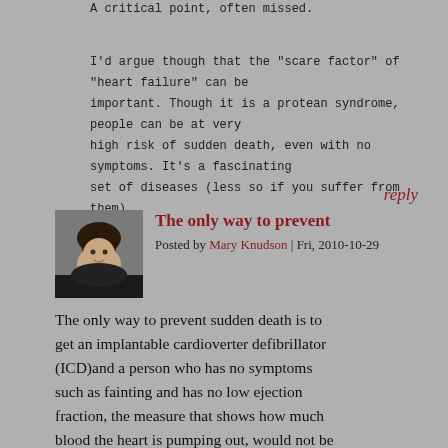A critical point, often missed.
I'd argue though that the "scare factor" of "heart failure" can be important. Though it is a protean syndrome, people can be at very high risk of sudden death, even with no symptoms. It's a fascinating set of diseases (less so if you suffer from them).
reply
[Figure (photo): Profile photo of Mary Knudson, a woman with dark hair.]
The only way to prevent
Posted by Mary Knudson | Fri, 2010-10-29
The only way to prevent sudden death is to get an implantable cardioverter defibrillator (ICD)and a person who has no symptoms such as fainting and has no low ejection fraction, the measure that shows how much blood the heart is pumping out, would not be eligible to get an ICD. People whose other health problems or heart structure or symptoms put them at risk of developing